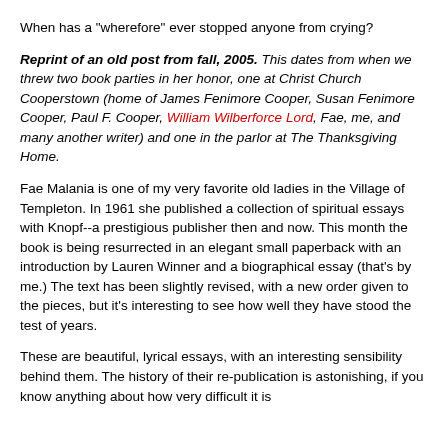When has a "wherefore" ever stopped anyone from crying?
Reprint of an old post from fall, 2005. This dates from when we threw two book parties in her honor, one at Christ Church Cooperstown (home of James Fenimore Cooper, Susan Fenimore Cooper, Paul F. Cooper, William Wilberforce Lord, Fae, me, and many another writer) and one in the parlor at The Thanksgiving Home.
Fae Malania is one of my very favorite old ladies in the Village of Templeton. In 1961 she published a collection of spiritual essays with Knopf--a prestigious publisher then and now. This month the book is being resurrected in an elegant small paperback with an introduction by Lauren Winner and a biographical essay (that's by me.) The text has been slightly revised, with a new order given to the pieces, but it's interesting to see how well they have stood the test of years.
These are beautiful, lyrical essays, with an interesting sensibility behind them. The history of their re-publication is astonishing, if you know anything about how very difficult it is